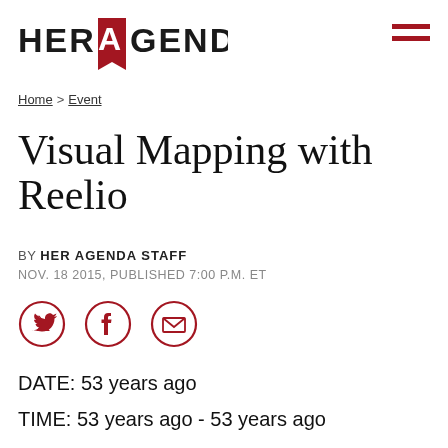[Figure (logo): Her Agenda logo with red A and bookmark ribbon]
[Figure (other): Hamburger menu icon (three red horizontal lines)]
Home > Event
Visual Mapping with Reelio
BY HER AGENDA STAFF
NOV. 18 2015, PUBLISHED 7:00 P.M. ET
[Figure (other): Social share icons: Twitter, Facebook, Email — red circle outlines]
DATE: 53 years ago
TIME: 53 years ago - 53 years ago